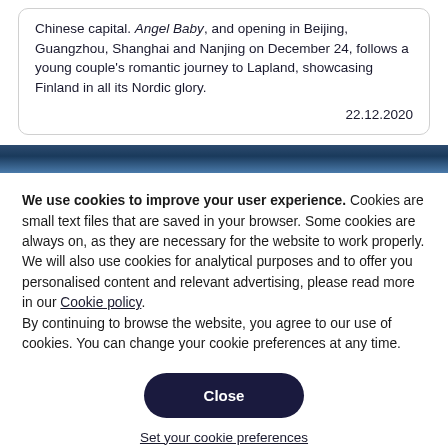Chinese capital. Angel Baby, and opening in Beijing, Guangzhou, Shanghai and Nanjing on December 24, follows a young couple's romantic journey to Lapland, showcasing Finland in all its Nordic glory.
22.12.2020
[Figure (other): Dark blue gradient banner strip]
We use cookies to improve your user experience. Cookies are small text files that are saved in your browser. Some cookies are always on, as they are necessary for the website to work properly. We will also use cookies for analytical purposes and to offer you personalised content and relevant advertising, please read more in our Cookie policy.
By continuing to browse the website, you agree to our use of cookies. You can change your cookie preferences at any time.
Close
Set your cookie preferences